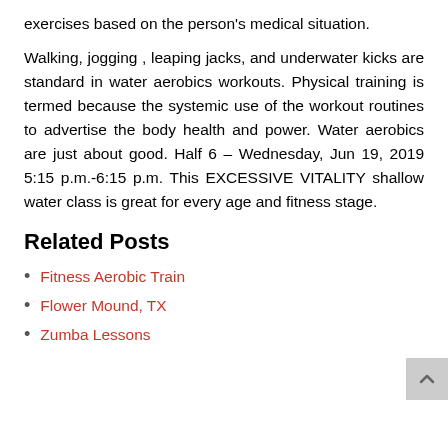exercises based on the person's medical situation.
Walking, jogging , leaping jacks, and underwater kicks are standard in water aerobics workouts. Physical training is termed because the systemic use of the workout routines to advertise the body health and power. Water aerobics are just about good. Half 6 – Wednesday, Jun 19, 2019 5:15 p.m.-6:15 p.m. This EXCESSIVE VITALITY shallow water class is great for every age and fitness stage.
Related Posts
Fitness Aerobic Train
Flower Mound, TX
Zumba Lessons